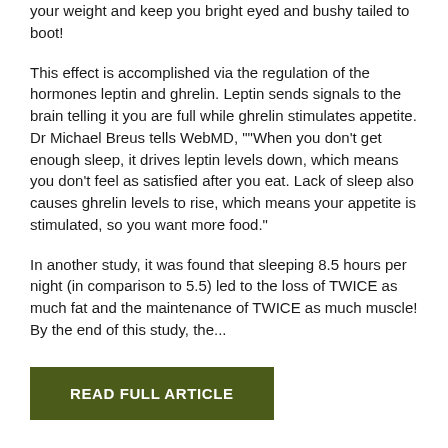your weight and keep you bright eyed and bushy tailed to boot!
This effect is accomplished via the regulation of the hormones leptin and ghrelin. Leptin sends signals to the brain telling it you are full while ghrelin stimulates appetite. Dr Michael Breus tells WebMD, ""When you don't get enough sleep, it drives leptin levels down, which means you don't feel as satisfied after you eat. Lack of sleep also causes ghrelin levels to rise, which means your appetite is stimulated, so you want more food."
In another study, it was found that sleeping 8.5 hours per night (in comparison to 5.5) led to the loss of TWICE as much fat and the maintenance of TWICE as much muscle! By the end of this study, the...
READ FULL ARTICLE